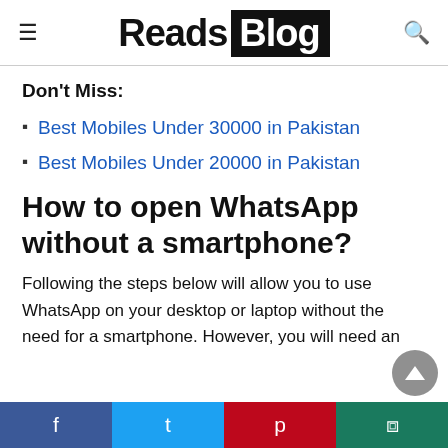Reads Blog
Don't Miss:
Best Mobiles Under 30000 in Pakistan
Best Mobiles Under 20000 in Pakistan
How to open WhatsApp without a smartphone?
Following the steps below will allow you to use WhatsApp on your desktop or laptop without the need for a smartphone. However, you will need an
Facebook | Twitter | Pinterest | WhatsApp